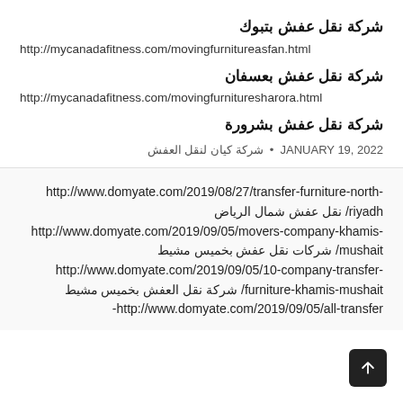شركة نقل عفش بتبوك
http://mycanadafitness.com/movingfurnitureasfan.html
شركة نقل عفش بعسفان
http://mycanadafitness.com/movingfurnituresharora.html
شركة نقل عفش بشرورة
JANUARY 19, 2022 • شركة كيان لنقل العفش
http://www.domyate.com/2019/08/27/transfer-furniture-north-riyadh/ نقل عفش شمال الرياض http://www.domyate.com/2019/09/05/movers-company-khamis-mushait/ شركات نقل عفش بخميس مشيط http://www.domyate.com/2019/09/05/10-company-transfer-furniture-khamis-mushait/ شركة نقل العفش بخميس مشيط http://www.domyate.com/2019/09/05/all-transfer-